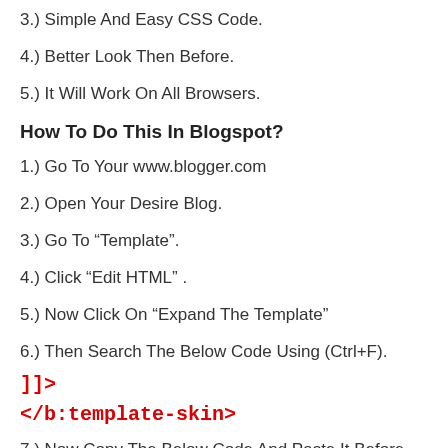3.) Simple And Easy CSS Code.
4.) Better Look Then Before.
5.) It Will Work On All Browsers.
How To Do This In Blogspot?
1.) Go To Your www.blogger.com
2.) Open Your Desire Blog.
3.) Go To “Template”.
4.) Click “Edit HTML” .
5.) Now Click On “Expand The Template”
6.) Then Search The Below Code Using (Ctrl+F).
]]>
</b:template-skin>
7.) Now Copy The Below Code And Paste It Before The Above Code.
8.) Click Save, Now You Are Done.
[Figure (other): Black bar / code block area at bottom of page]